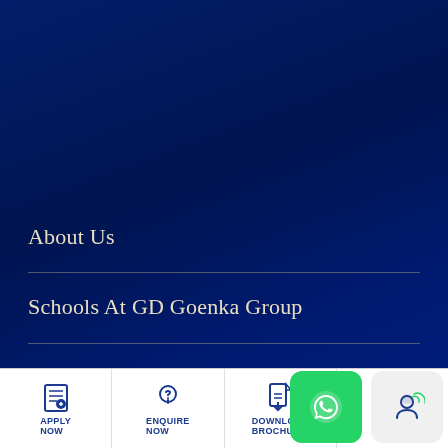[Figure (screenshot): Dark navy blue background with subtle overlay, likely a webpage navigation/footer section for GD Goenka educational institution.]
About Us
Schools At GD Goenka Group
Quick Links
Most Viewed Courses At GD Goenka
APPLY NOW
ENQUIRE NOW
DOWNLOAD BROCHURE
QUICK CHAT